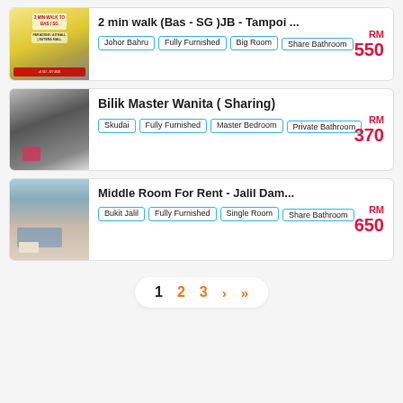[Figure (photo): Photo of room/property exterior with yellow background and overlay text '2 MIN WALK TO BAS SG / PARADIGM / AITMALL / SUTERA MALL']
2 min walk (Bas - SG )JB - Tampoi ...
Johor Bahru | Fully Furnished | Big Room | Share Bathroom
RM 550
[Figure (photo): Photo of a bedroom interior with dark wardrobe and minimal furnishings]
Bilik Master Wanita ( Sharing)
Skudai | Fully Furnished | Master Bedroom | Private Bathroom
RM 370
[Figure (photo): Photo of a middle room with blue curtains and a single bed with striped bedding]
Middle Room For Rent - Jalil Dam...
Bukit Jalil | Fully Furnished | Single Room | Share Bathroom
RM 650
1  2  3  >  >>